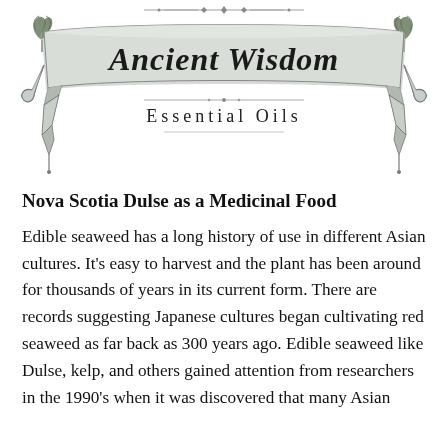[Figure (logo): Ancient Wisdom Essential Oils decorative banner logo with ribbon and ornamental flourishes in black and grey tones, with blackletter text 'Ancient Wisdom' and subtitle 'Essential Oils']
Nova Scotia Dulse as a Medicinal Food
Edible seaweed has a long history of use in different Asian cultures. It’s easy to harvest and the plant has been around for thousands of years in its current form. There are records suggesting Japanese cultures began cultivating red seaweed as far back as 300 years ago. Edible seaweed like Dulse, kelp, and others gained attention from researchers in the 1990’s when it was discovered that many Asian